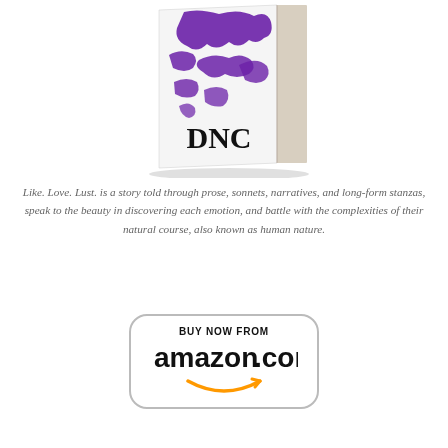[Figure (illustration): A book with white cover featuring purple abstract ink splatter/handprint design and the text 'DNC' in large serif letters, shown at an angle with spine visible]
Like. Love. Lust. is a story told through prose, sonnets, narratives, and long-form stanzas, speak to the beauty in discovering each emotion, and battle with the complexities of their natural course, also known as human nature.
[Figure (logo): Amazon.com 'BUY NOW FROM amazon.com' button with orange arrow logo, rounded rectangle border]